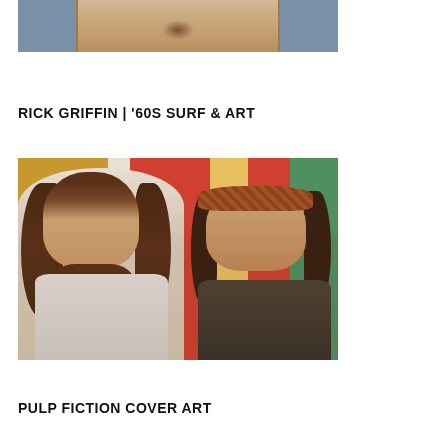[Figure (photo): Partial photo of a shirtless muscular torso, cropped at top of page]
RICK GRIFFIN | ’60S SURF & ART
[Figure (photo): Photo of two men with long hair standing in front of colorful artwork/record covers. Left man has a beard and long wavy hair wearing a light shirt. Right man has a mustache, long hair, and a leopard-print bandana wearing a dark jacket.]
PULP FICTION COVER ART